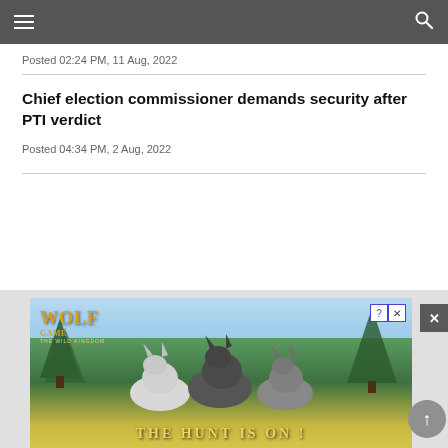Navigation bar with hamburger menu and search icon
Posted 02:24 PM, 11 Aug, 2022
Chief election commissioner demands security after PTI verdict
Posted 04:34 PM, 2 Aug, 2022
[Figure (illustration): Wolf Game advertisement showing three wolves in a forest meadow with text 'THE HUNT IS ON!' and 'WOLF GAME THE WILD KINGDOM' logo with close/help buttons]